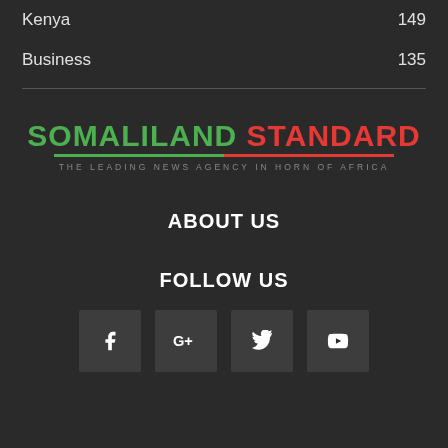Kenya 149
Business 135
[Figure (logo): Somaliland Standard logo — SOMALILAND in green, STANDARD in red, with a green/red underline bar and tagline THE LEADING NEWS AGENCY IN HORN OF AFRICA]
ABOUT US
FOLLOW US
[Figure (infographic): Social media icons: Facebook (f), Google+ (G+), Twitter bird, YouTube play button — each in a dark square box]